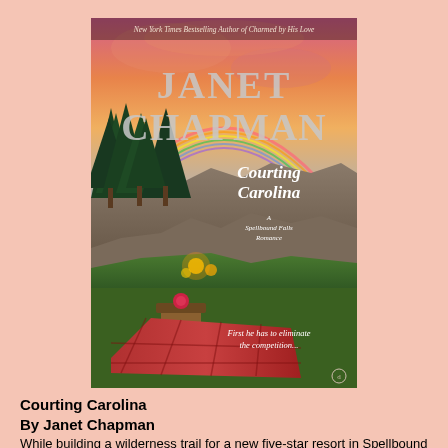[Figure (photo): Book cover of 'Courting Carolina' by Janet Chapman. Shows a scenic coastal cliff scene with pine trees, rocks, water, a rainbow sky at sunset, a picnic blanket with a rose in foreground, and glowing lights. Text on cover: 'New York Times Bestselling Author of Charmed by His Love', 'JANET CHAPMAN', 'COURTING CAROLINA', 'A Spellbound Falls Romance', 'First he has to eliminate the competition...']
Courting Carolina
By Janet Chapman
While building a wilderness trail for a new five-star resort in Spellbound Falls, underachieving playboy Alec MacKeage rescues a beautiful woman who is being chased by...